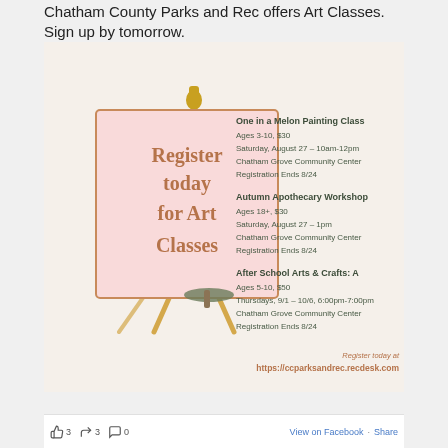Chatham County Parks and Rec offers Art Classes. Sign up by tomorrow.
[Figure (infographic): Promotional flyer for Chatham County Parks and Rec Art Classes. Shows an easel with a pink canvas on the left reading 'Register today for Art Classes' in brown text. On the right, three classes are listed: 'One in a Melon Painting Class', 'Autumn Apothecary Workshop', and 'After School Arts & Crafts: A'. At the bottom right, 'Register today at https://ccparksandrec.recdesk.com'.]
👍 3  🔁 3  💬 0  View on Facebook · Share